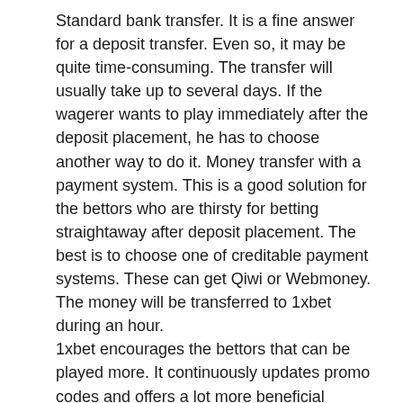Standard bank transfer. It is a fine answer for a deposit transfer. Even so, it may be quite time-consuming. The transfer will usually take up to several days. If the wagerer wants to play immediately after the deposit placement, he has to choose another way to do it. Money transfer with a payment system. This is a good solution for the bettors who are thirsty for betting straightaway after deposit placement. The best is to choose one of creditable payment systems. These can get Qiwi or Webmoney. The money will be transferred to 1xbet during an hour.
1xbet encourages the bettors that can be played more. It continuously updates promo codes and offers a lot more beneficial bonuses.
— — — — — —